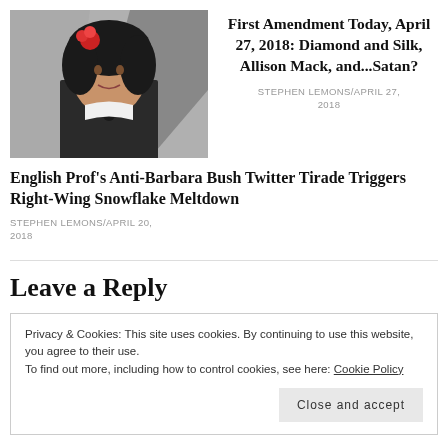[Figure (photo): Photo of a woman with dark curly hair and a red flower, wearing a black outfit and necklace, against a geometric background]
First Amendment Today, April 27, 2018: Diamond and Silk, Allison Mack, and...Satan?
STEPHEN LEMONS/APRIL 27, 2018
English Prof’s Anti-Barbara Bush Twitter Tirade Triggers Right-Wing Snowflake Meltdown
STEPHEN LEMONS/APRIL 20, 2018
Leave a Reply
Privacy & Cookies: This site uses cookies. By continuing to use this website, you agree to their use.
To find out more, including how to control cookies, see here: Cookie Policy
Close and accept